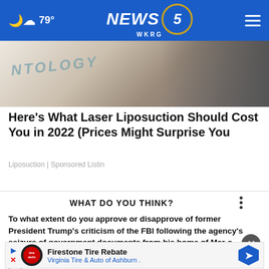79° NEWS 5 WKRG
[Figure (photo): Partial view of a medical/cosmetic procedure setting with text overlay reading 'ONTOLOGY']
Here's What Laser Liposuction Should Cost You in 2022 (Prices Might Surprise You
Liposuction | Sponsored Listin
WHAT DO YOU THINK?
To what extent do you approve or disapprove of former President Trump's criticism of the FBI following the agency's seizure of government documents from his home of Mar-a-Lago?
Firestone Tire Rebate
Virginia Tire & Auto of Ashburn .